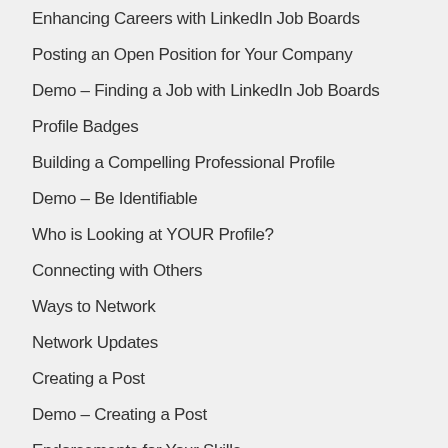Enhancing Careers with LinkedIn Job Boards
Posting an Open Position for Your Company
Demo – Finding a Job with LinkedIn Job Boards
Profile Badges
Building a Compelling Professional Profile
Demo – Be Identifiable
Who is Looking at YOUR Profile?
Connecting with Others
Ways to Network
Network Updates
Creating a Post
Demo – Creating a Post
Endorsements for Your Skills
Mining Your Contacts Networks
Demo – Mining Your Contacts Networks
Staying in Touch with Your Connections
Saved Searches
Creating a Company Page
Demo – Creating a Linked Company Page
Company Status